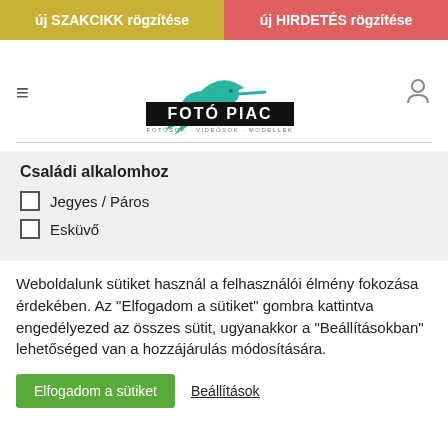[Figure (screenshot): Website screenshot showing Fotó Piac (Photo Market) website with navigation, logo, filter options, and cookie consent banner]
új SZAKCIKK rögzítése
új HIRDETÉS rögzítése
[Figure (logo): Fotó Piac logo with teal hummingbird and text FOTÓ PIAC, subtitle FOTÓSOK, VIDEÓSOK, MODELLEK]
Családi alkalomhoz
Jegyes / Páros
Esküvő
Weboldalunk sütiket használ a felhasználói élmény fokozása érdekében. Az "Elfogadom a sütiket" gombra kattintva engedélyezed az összes sütit, ugyanakkor a "Beállításokban" lehetőséged van a hozzájárulás módosítására.
Elfogadom a sütiket
Beállítások